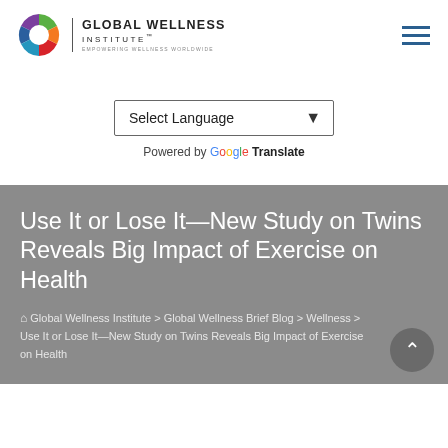Global Wellness Institute — Empowering Wellness Worldwide
Select Language
Powered by Google Translate
Use It or Lose It—New Study on Twins Reveals Big Impact of Exercise on Health
Global Wellness Institute > Global Wellness Brief Blog > Wellness > Use It or Lose It—New Study on Twins Reveals Big Impact of Exercise on Health